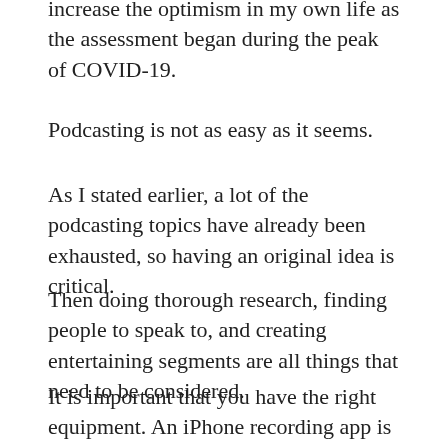increase the optimism in my own life as the assessment began during the peak of COVID-19.
Podcasting is not as easy as it seems.
As I stated earlier, a lot of the podcasting topics have already been exhausted, so having an original idea is critical.
Then doing thorough research, finding people to speak to, and creating entertaining segments are all things that need to be considered.
It is important that you have the right equipment. An iPhone recording app is great for an assignment, but may not create adequate